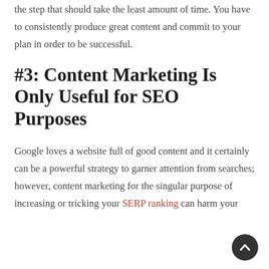the step that should take the least amount of time. You have to consistently produce great content and commit to your plan in order to be successful.
#3: Content Marketing Is Only Useful for SEO Purposes
Google loves a website full of good content and it certainly can be a powerful strategy to garner attention from searches; however, content marketing for the singular purpose of increasing or tricking your SERP ranking can harm your